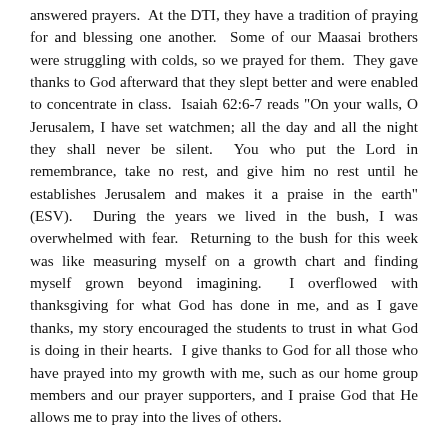answered prayers.  At the DTI, they have a tradition of praying for and blessing one another.  Some of our Maasai brothers were struggling with colds, so we prayed for them.  They gave thanks to God afterward that they slept better and were enabled to concentrate in class.  Isaiah 62:6-7 reads "On your walls, O Jerusalem, I have set watchmen; all the day and all the night they shall never be silent.  You who put the Lord in remembrance, take no rest, and give him no rest until he establishes Jerusalem and makes it a praise in the earth" (ESV).  During the years we lived in the bush, I was overwhelmed with fear.  Returning to the bush for this week was like measuring myself on a growth chart and finding myself grown beyond imagining.  I overflowed with thanksgiving for what God has done in me, and as I gave thanks, my story encouraged the students to trust in what God is doing in their hearts.  I give thanks to God for all those who have prayed into my growth with me, such as our home group members and our prayer supporters, and I praise God that He allows me to pray into the lives of others.